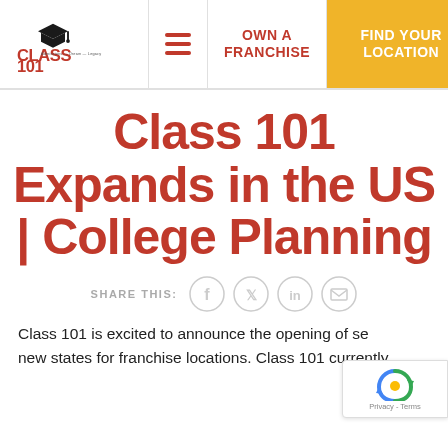[Figure (logo): Class 101 logo with graduation cap icon]
OWN A FRANCHISE | FIND YOUR LOCATION
Class 101 Expands in the US | College Planning
SHARE THIS:
Class 101 is excited to announce the opening of several new states for franchise locations. Class 101 currently